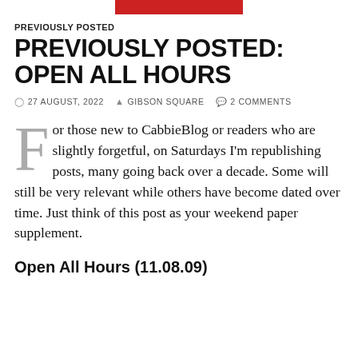[Figure (illustration): Red banner/image at top center of page]
PREVIOUSLY POSTED
PREVIOUSLY POSTED: OPEN ALL HOURS
27 AUGUST, 2022  GIBSON SQUARE  2 COMMENTS
For those new to CabbieBlog or readers who are slightly forgetful, on Saturdays I'm republishing posts, many going back over a decade. Some will still be very relevant while others have become dated over time. Just think of this post as your weekend paper supplement.
Open All Hours (11.08.09)